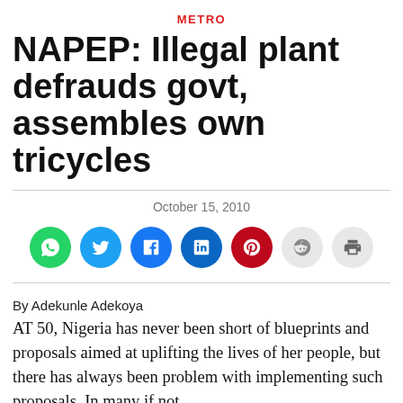METRO
NAPEP: Illegal plant defrauds govt, assembles own tricycles
October 15, 2010
[Figure (infographic): Row of social share buttons: WhatsApp (green), Twitter (blue), Facebook (blue), LinkedIn (blue), Pinterest (red), Reddit (light grey), Print (light grey)]
By Adekunle Adekoya
AT 50, Nigeria has never been short of blueprints and proposals aimed at uplifting the lives of her people, but there has always been problem with implementing such proposals. In many if not